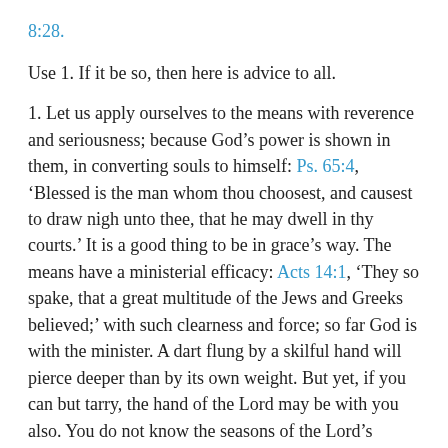8:28.
Use 1. If it be so, then here is advice to all.
1. Let us apply ourselves to the means with reverence and seriousness; because God’s power is shown in them, in converting souls to himself: Ps. 65:4, ‘Blessed is the man whom thou choosest, and causest to draw nigh unto thee, that he may dwell in thy courts.’ It is a good thing to be in grace’s way. The means have a ministerial efficacy: Acts 14:1, ‘They so spake, that a great multitude of the Jews and Greeks believed;’ with such clearness and force; so far God is with the minister. A dart flung by a skilful hand will pierce deeper than by its own weight. But yet, if you can but tarry, the hand of the Lord may be with you also. You do not know the seasons of the Lord’s grace; all are not called at the first hour; some lie long at the pool, but yet wait still. Ere ever you are aware, the Holy Ghost may fall upon you and open your hearts. That heavenly